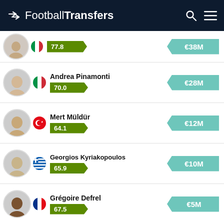FootballTransfers
Player row (partial/cropped): score 77.8, value €38M
Andrea Pinamonti, Italy, score 70.0, value €28M
Mert Müldür, Turkey, score 64.1, value €12M
Georgios Kyriakopoulos, Greece, score 65.9, value €10M
Grégoire Defrel, France, score 67.5, value €5M
View all Teammates
[Figure (screenshot): Hulu Disney+ ESPN+ GET THE DISNEY BUNDLE advertisement banner. Incl. Hulu (ad-supported) or Hulu (No Ads). Access content from each service separately. ©2021 Disney and its related entities]